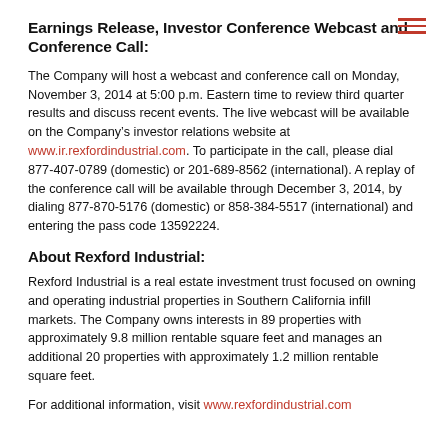Earnings Release, Investor Conference Webcast and Conference Call:
The Company will host a webcast and conference call on Monday, November 3, 2014 at 5:00 p.m. Eastern time to review third quarter results and discuss recent events. The live webcast will be available on the Company’s investor relations website at www.ir.rexfordindustrial.com. To participate in the call, please dial 877-407-0789 (domestic) or 201-689-8562 (international). A replay of the conference call will be available through December 3, 2014, by dialing 877-870-5176 (domestic) or 858-384-5517 (international) and entering the pass code 13592224.
About Rexford Industrial:
Rexford Industrial is a real estate investment trust focused on owning and operating industrial properties in Southern California infill markets. The Company owns interests in 89 properties with approximately 9.8 million rentable square feet and manages an additional 20 properties with approximately 1.2 million rentable square feet.
For additional information, visit www.rexfordindustrial.com